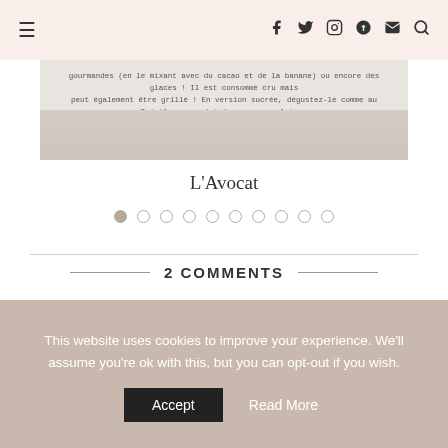≡  f  🐦  📷  𝕡  ✉  🔍
[Figure (photo): Partial image of a food item (avocat/avocado) with handwritten-style French text overlay describing its taste and uses]
L'Avocat
[Figure (infographic): Pagination dots: 10 dots, first dot filled/active (tan color), rest empty circles]
2 COMMENTS
LOU
En poursuivant votre navigation sur ce site, vous acceptez l'utilisation de cookies ou autres traceurs
This website uses cookies to improve your experience. We'll assume you're ok with this, but you can opt-out if you wish.
Accept   Read More